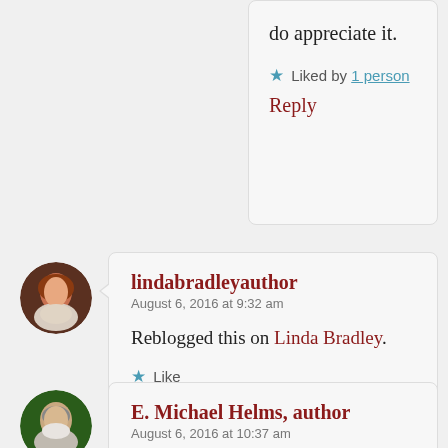do appreciate it.
★ Liked by 1 person
Reply
[Figure (photo): Avatar photo of lindabradleyauthor - woman with red/auburn hair]
lindabradleyauthor
August 6, 2016 at 9:32 am
Reblogged this on Linda Bradley.
★ Like
Reply
[Figure (photo): Avatar photo of E. Michael Helms - older man with white beard]
E. Michael Helms, author
August 6, 2016 at 10:37 am